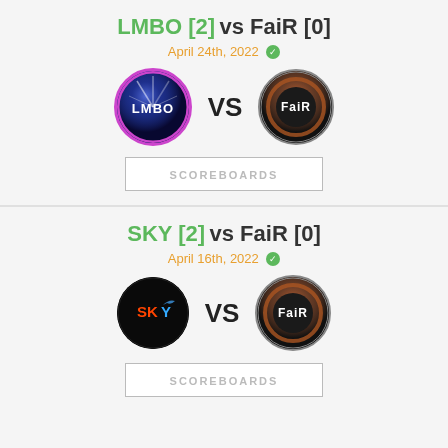LMBO [2] vs FaiR [0]
April 24th, 2022
[Figure (illustration): LMBO team logo (purple circle with galaxy/light effect and LMBO text) vs FaiR team logo (dark metallic robot-like circle with FaiR text)]
SCOREBOARDS
SKY [2] vs FaiR [0]
April 16th, 2022
[Figure (illustration): SKY team logo (black circle with colorful SKY text and bird) vs FaiR team logo (dark metallic robot-like circle with FaiR text)]
SCOREBOARDS